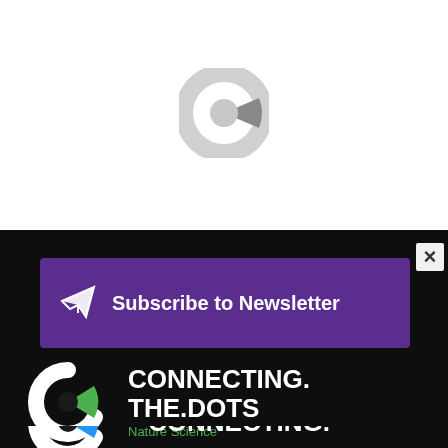WFP
[Figure (logo): Circular logo/spinner graphic in light gray, partially visible, resembling a C shape with a dark wedge]
[Figure (screenshot): Subscribe to Newsletter banner in purple with paper plane icon and white bold text]
[Figure (logo): CONNECTING.THE.DOTS Nature Science logo with white C lettermark and green accent dot on dark background]
[Figure (logo): CONNECTING.THE.DOTS logo with white C lettermark and blue accent dot on dark background, partially visible at bottom]